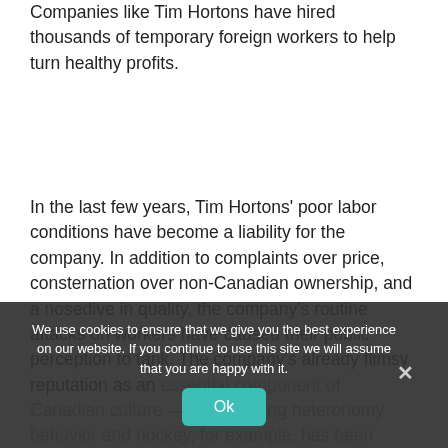Companies like Tim Hortons have hired thousands of temporary foreign workers to help turn healthy profits.
In the last few years, Tim Hortons' poor labor conditions have become a liability for the company. In addition to complaints over price, consternation over non-Canadian ownership, and a nosedive in quality, the company's routine attacks on workers have caused their public perception to tank. The company's already flimsy reputation as an essential component of Canadian culture — representing heteronomy behavior and hockey, for example, has been deeply damaged.
We use cookies to ensure that we give you the best experience on our website. If you continue to use this site we will assume that you are happy with it.